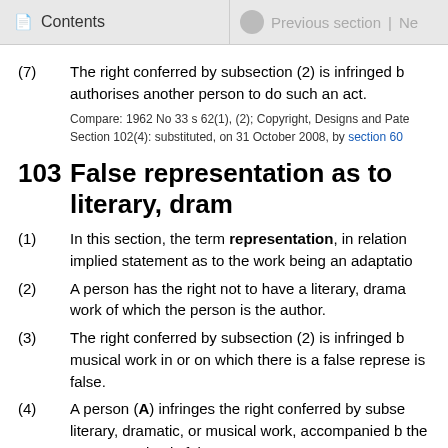Contents | Previous section | Ne
(7) The right conferred by subsection (2) is infringed b authorises another person to do such an act.
Compare: 1962 No 33 s 62(1), (2); Copyright, Designs and Pate
Section 102(4): substituted, on 31 October 2008, by section 60
103 False representation as to literary, dram
(1) In this section, the term representation, in relation implied statement as to the work being an adaptatio
(2) A person has the right not to have a literary, drama work of which the person is the author.
(3) The right conferred by subsection (2) is infringed b musical work in or on which there is a false represe is false.
(4) A person (A) infringes the right conferred by subse literary, dramatic, or musical work, accompanied b the representation is false.
(5) The right conferred by subsection (2) is infringed b
(a) the issue to the public; or